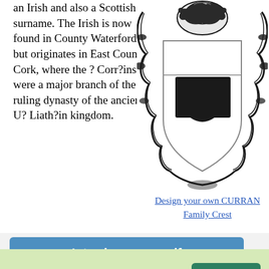an Irish and also a Scottish surname. The Irish is now found in County Waterford but originates in East County Cork, where the ? Corr?ins were a major branch of the ruling dynasty of the ancient U? Liath?in kingdom.
[Figure (illustration): Heraldic coat of arms / family crest for CURRAN family, showing a shield with black chevrons/shapes on white background, surrounded by decorative black scrollwork and a crest on top]
Design your own CURRAN Family Crest
[Figure (screenshot): Website UI section with blue banner saying 'Introduce yourself', partially visible content about My CURRAN Family Story with a logo and Choose dropdown]
By using our site we assume you are ok with our cookie policy